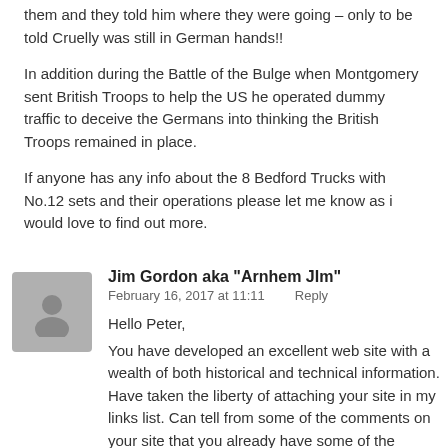them and they told him where they were going – only to be told Cruelly was still in German hands!!
In addition during the Battle of the Bulge when Montgomery sent British Troops to help the US he operated dummy traffic to deceive the Germans into thinking the British Troops remained in place.
If anyone has any info about the 8 Bedford Trucks with No.12 sets and their operations please let me know as i would love to find out more.
Jim Gordon aka "Arnhem JIm"
February 16, 2017 at 11:11   Reply
Hello Peter,
You have developed an excellent web site with a wealth of both historical and technical information. Have taken the liberty of attaching your site in my links list. Can tell from some of the comments on your site that you already have some of the following data, however you may be interested in some of this additional information;
http://www.raffca.org.uk/cms/afcs.html
http://arnhemjim.blogspot.com/2011/04/communications-at-battle-of-arnhem.html